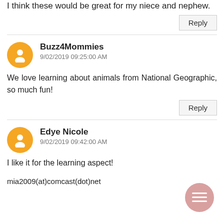I think these would be great for my niece and nephew.
Reply
Buzz4Mommies
9/02/2019 09:25:00 AM
We love learning about animals from National Geographic, so much fun!
Reply
Edye Nicole
9/02/2019 09:42:00 AM
I like it for the learning aspect!
mia2009(at)comcast(dot)net